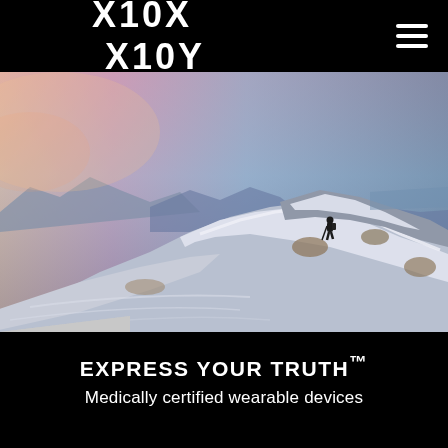X10X  X10Y
[Figure (photo): A snow-covered mountain ridge at dusk/dawn with a lone hiker silhouette walking along the ridge. Warm pink and orange sky on the left, blue mountain ranges in the background, and the ridge sloping to the right.]
EXPRESS YOUR TRUTH™
Medically certified wearable devices